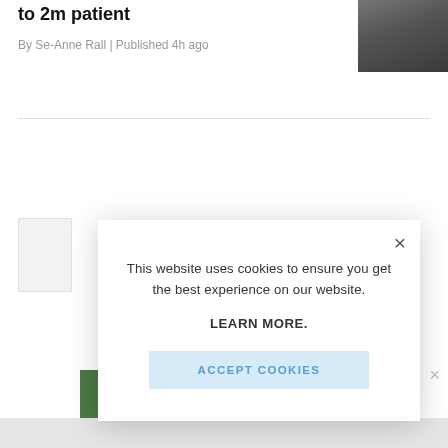to 2m patient
By Se-Anne Rall | Published 4h ago
[Figure (photo): Thumbnail photo of a person in dark clothing, top-right of article]
This website uses cookies to ensure you get the best experience on our website.

LEARN MORE.

ACCEPT COOKIES